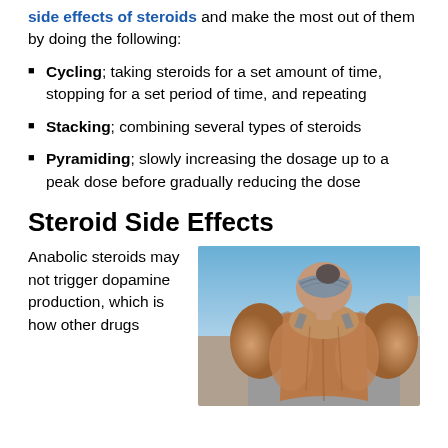side effects of steroids and make the most out of them by doing the following:
Cycling; taking steroids for a set amount of time, stopping for a set period of time, and repeating
Stacking; combining several types of steroids
Pyramiding; slowly increasing the dosage up to a peak dose before gradually reducing the dose
Steroid Side Effects
Anabolic steroids may not trigger dopamine production, which is how other drugs
[Figure (photo): Rear view of a heavily muscular person wearing a gray tank top and bandana, showing extremely developed back and shoulder muscles against a blue sky background.]